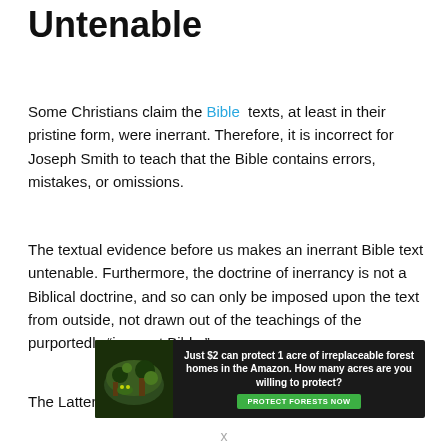Untenable
Some Christians claim the Bible texts, at least in their pristine form, were inerrant. Therefore, it is incorrect for Joseph Smith to teach that the Bible contains errors, mistakes, or omissions.
The textual evidence before us makes an inerrant Bible text untenable. Furthermore, the doctrine of inerrancy is not a Biblical doctrine, and so can only be imposed upon the text from outside, not drawn out of the teachings of the purportedly “inerrant Bible.”
The Latter-day Saint stance of honoring the Bible and
[Figure (infographic): Advertisement banner: Just $2 can protect 1 acre of irreplaceable forest homes in the Amazon. How many acres are you willing to protect? PROTECT FORESTS NOW]
x